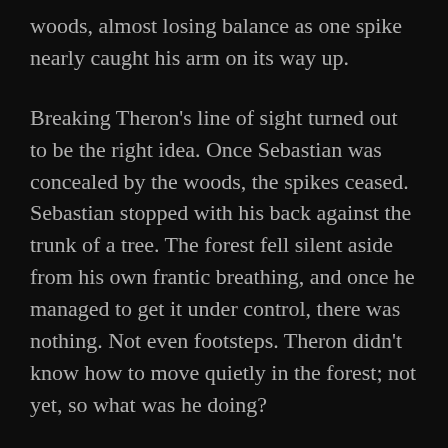woods, almost losing balance as one spike nearly caught his arm on its way up.
Breaking Theron's line of sight turned out to be the right idea. Once Sebastian was concealed by the woods, the spikes ceased. Sebastian stopped with his back against the trunk of a tree. The forest fell silent aside from his own frantic breathing, and once he managed to get it under control, there was nothing. Not even footsteps. Theron didn't know how to move quietly in the forest; not yet, so what was he doing?
The answer came in the form of another tremor, faint at first, but gradually stronger. A loud snap followed. Sebastian frowned and peered around his tree, searching for the source of sound. A